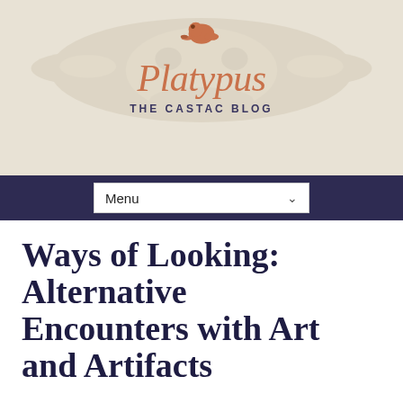[Figure (logo): Platypus - The CASTAC Blog header banner with platypus icon, site title in orange serif font, subtitle in dark navy small caps, and a faint watermark of a platypus skull in the background]
Menu
Ways of Looking: Alternative Encounters with Art and Artifacts